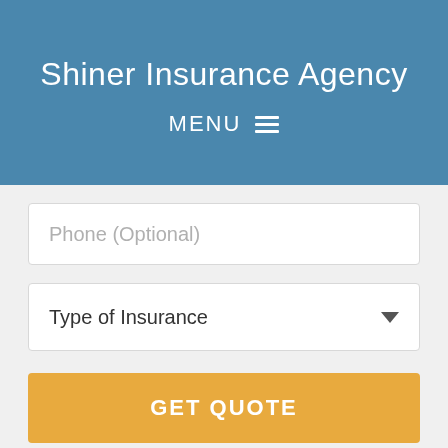Shiner Insurance Agency
MENU ☰
Phone (Optional)
Type of Insurance
GET QUOTE